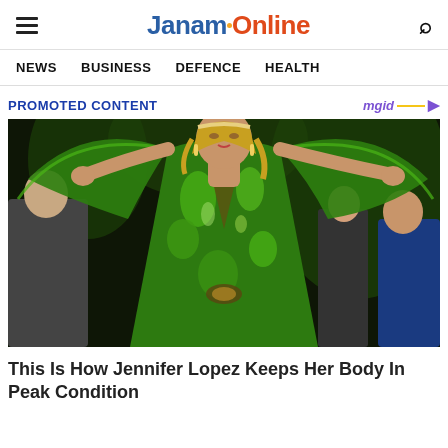JanamOnline
NEWS   BUSINESS   DEFENCE   HEALTH
PROMOTED CONTENT
[Figure (photo): Jennifer Lopez wearing a green tropical print Versace gown with arms outstretched on a runway, crowd in background]
This Is How Jennifer Lopez Keeps Her Body In Peak Condition